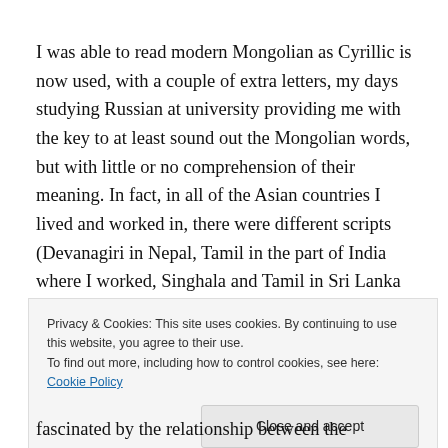I was able to read modern Mongolian as Cyrillic is now used, with a couple of extra letters, my days studying Russian at university providing me with the key to at least sound out the Mongolian words, but with little or no comprehension of their meaning. In fact, in all of the Asian countries I lived and worked in, there were different scripts (Devanagiri in Nepal, Tamil in the part of India where I worked, Singhala and Tamil in Sri Lanka and the beautiful
Privacy & Cookies: This site uses cookies. By continuing to use this website, you agree to their use.
To find out more, including how to control cookies, see here: Cookie Policy
Close and accept
fascinated by the relationship between the